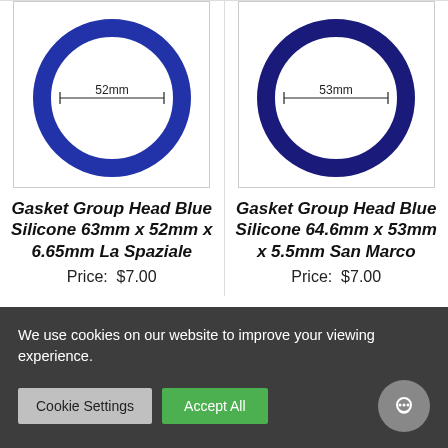[Figure (illustration): Blue silicone ring gasket diagram showing 52mm inner diameter, for La Spaziale espresso machine]
[Figure (illustration): Blue silicone ring gasket diagram showing 53mm inner diameter, for San Marco espresso machine]
Gasket Group Head Blue Silicone 63mm x 52mm x 6.65mm La Spaziale
Price:  $7.00
Gasket Group Head Blue Silicone 64.6mm x 53mm x 5.5mm San Marco
Price:  $7.00
We use cookies on our website to improve your viewing experience.